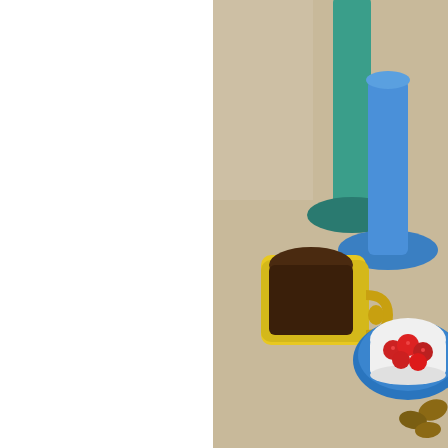[Figure (photo): Photo of a yellow coffee mug filled with dark coffee, alongside teal/blue glass candlesticks and a blue plate holding a white bowl of red raspberries and other food items, on a tan surface.]
They were an impulse purchase at the grocery store.
Needing: To get organized. Something about Fall hitting full force made me want to get organized in my craft room. You might have seen my bead cabinet post, but I also orga...
[Figure (photo): Partial photo showing hooks on a wall with colorful cords or ribbons hanging from them.]